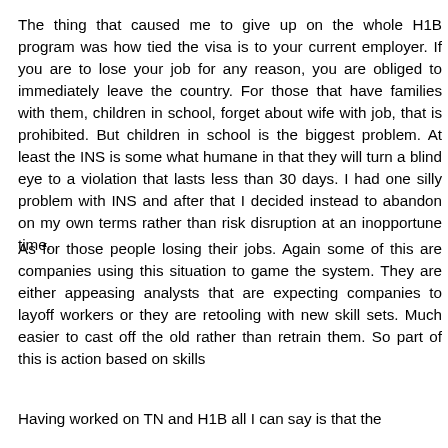The thing that caused me to give up on the whole H1B program was how tied the visa is to your current employer. If you are to lose your job for any reason, you are obliged to immediately leave the country. For those that have families with them, children in school, forget about wife with job, that is prohibited. But children in school is the biggest problem. At least the INS is some what humane in that they will turn a blind eye to a violation that lasts less than 30 days. I had one silly problem with INS and after that I decided instead to abandon on my own terms rather than risk disruption at an inopportune time.
As for those people losing their jobs. Again some of this are companies using this situation to game the system. They are either appeasing analysts that are expecting companies to layoff workers or they are retooling with new skill sets. Much easier to cast off the old rather than retrain them. So part of this is action based on skills
Having worked on TN and H1B all I can say is that the